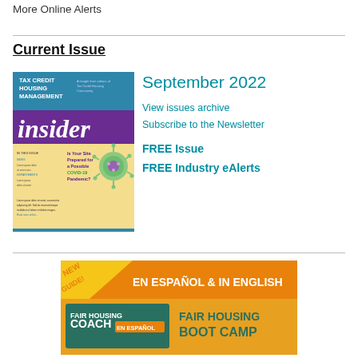More Online Alerts
Current Issue
[Figure (illustration): Cover of Tax Credit Housing Management Insider newsletter, September 2022 issue, featuring 'Is Your Site Prepared for a Possible COVID-19 Pandemic?' headline with a COVID virus illustration]
September 2022
View issues archive
Subscribe to the Newsletter
FREE Issue
FREE Industry eAlerts
[Figure (illustration): Advertisement banner: NEW GUIDE! EN ESPAÑOL & IN ENGLISH — Fair Housing Coach en Español — FAIR HOUSING BOOT CAMP, green and orange design]